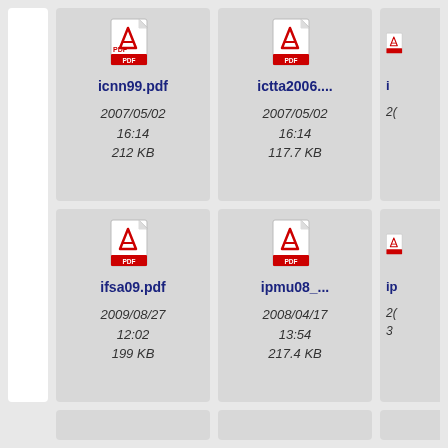[Figure (screenshot): File browser grid view showing PDF file icons with names, dates, and sizes. Row 1: icnn99.pdf (2007/05/02 16:14, 212 KB), ictta2006.... (2007/05/02 16:14, 117.7 KB), partially visible third file. Row 2: ifsa09.pdf (2009/08/27 12:02, 199 KB), ipmu08_... (2008/04/17 13:54, 217.4 KB), partially visible third file. Bottom row partially visible.]